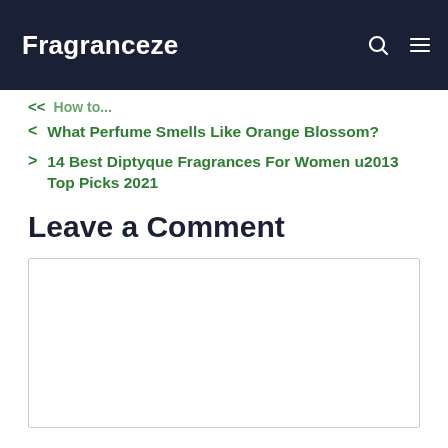Fragranceze
< What Perfume Smells Like Orange Blossom?
> 14 Best Diptyque Fragrances For Women u2013 Top Picks 2021
Leave a Comment